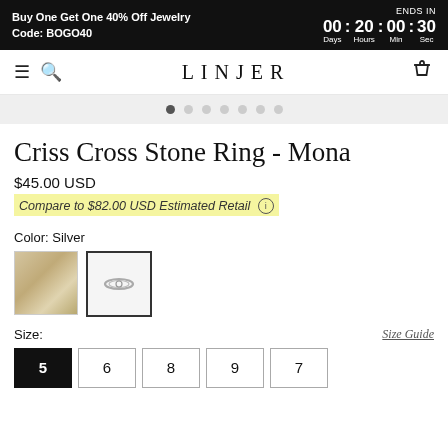Buy One Get One 40% Off Jewelry Code: BOGO40 — ENDS IN 00 Days : 20 Hours : 00 Min : 30 Sec
LINJER
[Figure (other): Carousel dot indicators, 7 dots, first dot active]
Criss Cross Stone Ring - Mona
$45.00 USD
Compare to $82.00 USD Estimated Retail ℹ
Color: Silver
[Figure (photo): Two color swatches: gold/yellow and silver ring swatch (selected with border)]
Size:
Size Guide
Size buttons: 5 (selected/black), 6, 8, 9, 7